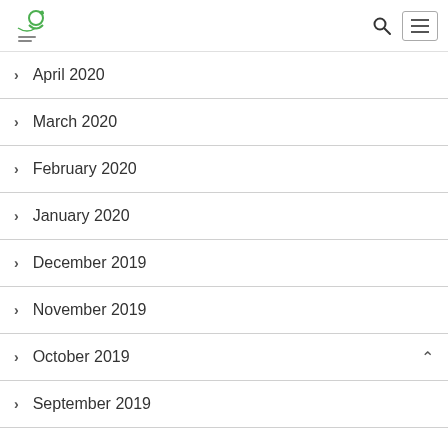Logo, search icon, menu button
April 2020
March 2020
February 2020
January 2020
December 2019
November 2019
October 2019
September 2019